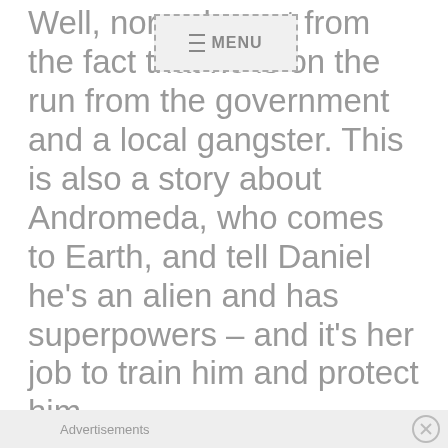Well, normal apart from the fact that he is on the run from the government and a local gangster. This is also a story about Andromeda, who comes to Earth, and tell Daniel he's an alien and has superpowers – and it's her job to train him and protect him.
[Figure (other): Navigation menu overlay button with dashed border showing hamburger icon and MENU text]
Advertisements